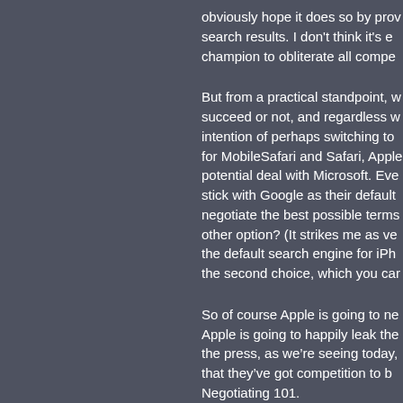obviously hope it does so by providing better search results. I don't think it's easy to champion to obliterate all compe...
But from a practical standpoint, whether they succeed or not, and regardless w... intention of perhaps switching to... for MobileSafari and Safari, Apple... potential deal with Microsoft. Eve... stick with Google as their default... negotiate the best possible terms... other option? (It strikes me as ve... the default search engine for iPh... the second choice, which you ca...
So of course Apple is going to ne... Apple is going to happily leak the... the press, as we're seeing today,... that they've got competition to b... Negotiating 101.